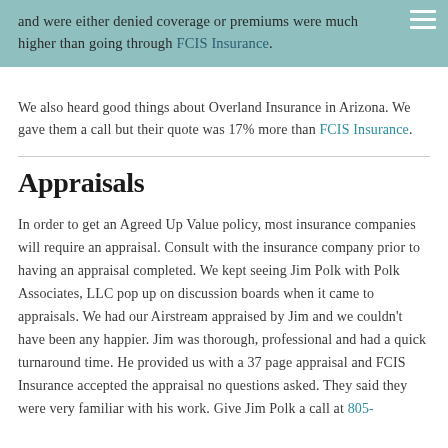and were either denied coverage or premiums were much higher than going through FCIS Insurance.
We also heard good things about Overland Insurance in Arizona. We gave them a call but their quote was 17% more than FCIS Insurance.
Appraisals
In order to get an Agreed Up Value policy, most insurance companies will require an appraisal. Consult with the insurance company prior to having an appraisal completed. We kept seeing Jim Polk with Polk Associates, LLC pop up on discussion boards when it came to appraisals. We had our Airstream appraised by Jim and we couldn't have been any happier. Jim was thorough, professional and had a quick turnaround time. He provided us with a 37 page appraisal and FCIS Insurance accepted the appraisal no questions asked. They said they were very familiar with his work. Give Jim Polk a call at 805-